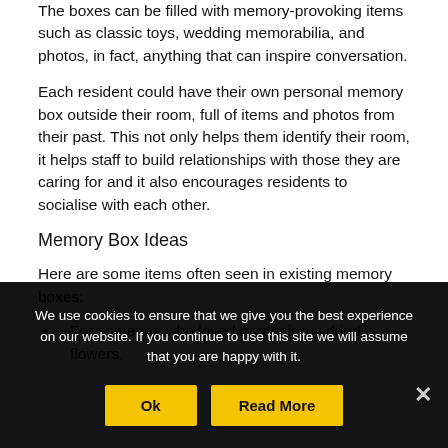The boxes can be filled with memory-provoking items such as classic toys, wedding memorabilia, and photos, in fact, anything that can inspire conversation.
Each resident could have their own personal memory box outside their room, full of items and photos from their past. This not only helps them identify their room, it helps staff to build relationships with those they are caring for and it also encourages residents to socialise with each other.
Memory Box Ideas
Here are some items often seen in existing memory boxes:
For someone who loved gardening – dried flowers,
We use cookies to ensure that we give you the best experience on our website. If you continue to use this site we will assume that you are happy with it.